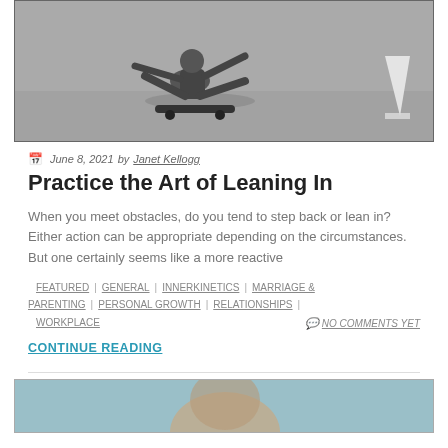[Figure (photo): Black and white photo of a person falling off a skateboard on pavement, with a white cone visible on the right]
June 8, 2021  by  Janet Kellogg
Practice the Art of Leaning In
When you meet obstacles, do you tend to step back or lean in? Either action can be appropriate depending on the circumstances. But one certainly seems like a more reactive
FEATURED | GENERAL | INNERKINETICS | MARRIAGE & PARENTING | PERSONAL GROWTH | RELATIONSHIPS | WORKPLACE  NO COMMENTS YET
CONTINUE READING
[Figure (photo): Partial view of a person's head/face at the bottom of the page, teal/blue tint]